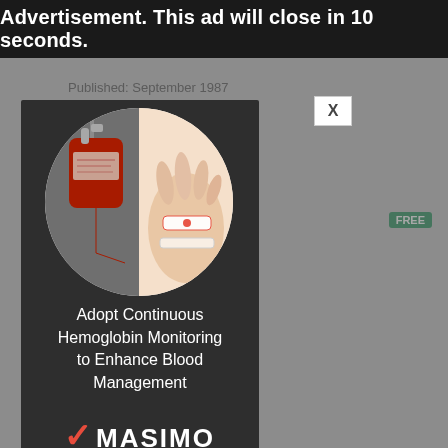Advertisement. This ad will close in 10 seconds.
Published: September 1987
Extract ∨
Articles
PHARMACO PHARMACO CURINE IN INFANTS TS
FREE
J. A. Weinstein, M. ... D., M.D., M. Goldstoff, B.S., J. D...
Publication: Anest... Anesthesiology, Sep...
[Figure (photo): Advertisement modal overlay for Masimo SpHb product showing a blood bag and a hand with a pulse oximeter sensor. Text reads: Adopt Continuous Hemoglobin Monitoring to Enhance Blood Management. Masimo logo. Button: Discover SpHb®]
This site uses co... ur website, you are ... cy.
Accept